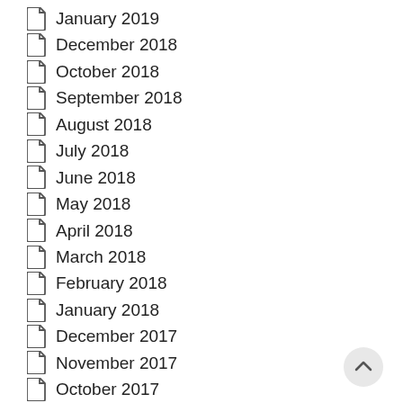January 2019
December 2018
October 2018
September 2018
August 2018
July 2018
June 2018
May 2018
April 2018
March 2018
February 2018
January 2018
December 2017
November 2017
October 2017
September 2017